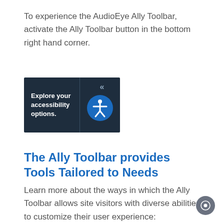To experience the AudioEye Ally Toolbar, activate the Ally Toolbar button in the bottom right hand corner.
[Figure (screenshot): Dark toolbar button with text 'Explore your accessibility options.' on the left and an accessibility person icon inside a blue circle on the right, with double chevrons (<<) above.]
The Ally Toolbar provides Tools Tailored to Needs
Learn more about the ways in which the Ally Toolbar allows site visitors with diverse abilities to customize their user experience: